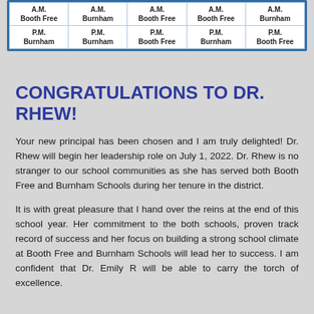| A.M.
Booth Free | A.M.
Burnham | A.M.
Booth Free | A.M.
Booth Free | A.M.
Burnham |
| P.M.
Burnham | P.M.
Burnham | P.M.
Booth Free | P.M.
Burnham | P.M.
Booth Free |
CONGRATULATIONS TO DR. RHEW!
Your new principal has been chosen and I am truly delighted! Dr. Rhew will begin her leadership role on July 1, 2022. Dr. Rhew is no stranger to our school communities as she has served both Booth Free and Burnham Schools during her tenure in the district.
It is with great pleasure that I hand over the reins at the end of this school year. Her commitment to the both schools, proven track record of success and her focus on building a strong school climate at Booth Free and Burnham Schools will lead her to success. I am confident that Dr. Emily R will be able to carry the torch of excellence.